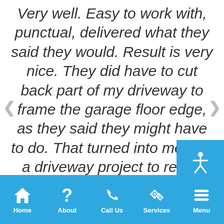Very well. Easy to work with, punctual, delivered what they said they would. Result is very nice. They did have to cut back part of my driveway to frame the garage floor edge, as they said they might have to do. That turned into more of a driveway project to repair than I was expecting, which is not
[Figure (other): Blue accessibility icon button overlapping the review text in the lower right area]
Home  About  Call Us  Services  Menu